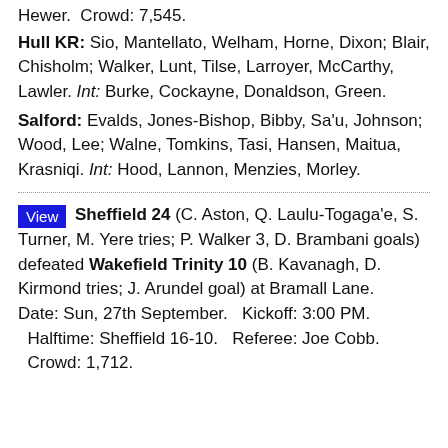Hewer.  Crowd: 7,545.
Hull KR: Sio, Mantellato, Welham, Horne, Dixon; Blair, Chisholm; Walker, Lunt, Tilse, Larroyer, McCarthy, Lawler. Int: Burke, Cockayne, Donaldson, Green.
Salford: Evalds, Jones-Bishop, Bibby, Sa'u, Johnson; Wood, Lee; Walne, Tomkins, Tasi, Hansen, Maitua, Krasniqi. Int: Hood, Lannon, Menzies, Morley.
Sheffield 24 (C. Aston, Q. Laulu-Togaga'e, S. Turner, M. Yere tries; P. Walker 3, D. Brambani goals) defeated Wakefield Trinity 10 (B. Kavanagh, D. Kirmond tries; J. Arundel goal) at Bramall Lane. Date: Sun, 27th September.   Kickoff: 3:00 PM.   Halftime: Sheffield 16-10.   Referee: Joe Cobb.   Crowd: 1,712.